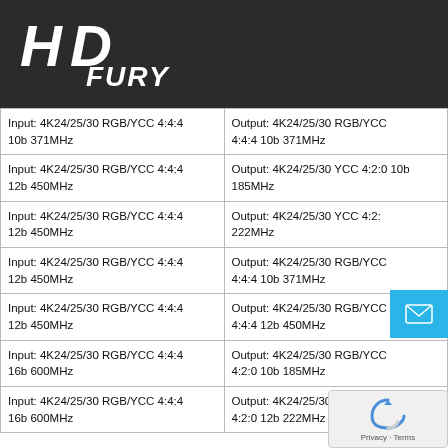[Figure (logo): HD Fury logo in white italic text on dark background]
| Input | Output |
| --- | --- |
| Input: 4K24/25/30 RGB/YCC 4:4:4 10b 371MHz | Output: 4K24/25/30 RGB/YCC 4:4:4 10b 371MHz |
| Input: 4K24/25/30 RGB/YCC 4:4:4 12b 450MHz | Output: 4K24/25/30 YCC 4:2:0 10b 185MHz |
| Input: 4K24/25/30 RGB/YCC 4:4:4 12b 450MHz | Output: 4K24/25/30 YCC 4:2: 222MHz |
| Input: 4K24/25/30 RGB/YCC 4:4:4 12b 450MHz | Output: 4K24/25/30 RGB/YCC 4:4:4 10b 371MHz |
| Input: 4K24/25/30 RGB/YCC 4:4:4 12b 450MHz | Output: 4K24/25/30 RGB/YCC 4:4:4 12b 450MHz |
| Input: 4K24/25/30 RGB/YCC 4:4:4 16b 600MHz | Output: 4K24/25/30 RGB/YCC 4:2:0 10b 185MHz |
| Input: 4K24/25/30 RGB/YCC 4:4:4 16b 600MHz | Output: 4K24/25/30 RGB/Y 4:2:0 12b 222MHz |